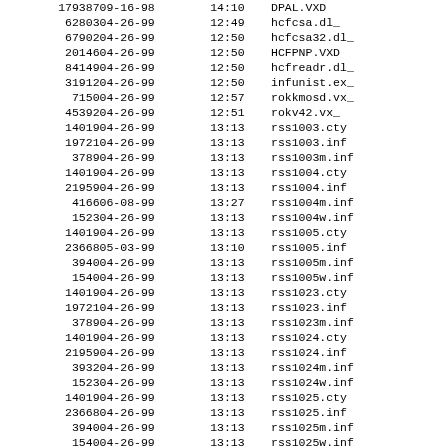| Size | Date | Time | Filename |
| --- | --- | --- | --- |
| 179387 | 09-16-98 | 14:10 | DPAL.VXD |
| 62803 | 04-26-99 | 12:49 | hcfcsa.dl_ |
| 67902 | 04-26-99 | 12:50 | hcfcsa32.dl_ |
| 20146 | 04-26-99 | 12:50 | HCFPNP.VXD |
| 84149 | 04-26-99 | 12:50 | hcfreadr.dl_ |
| 31912 | 04-26-99 | 12:50 | infunist.ex_ |
| 7150 | 04-26-99 | 12:57 | rokkmosd.vx_ |
| 45392 | 04-26-99 | 12:51 | rokv42.vx_ |
| 14019 | 04-26-99 | 13:13 | rss1003.cty |
| 19721 | 04-26-99 | 13:13 | rss1003.inf |
| 3789 | 04-26-99 | 13:13 | rss1003m.inf |
| 14019 | 04-26-99 | 13:13 | rss1004.cty |
| 21959 | 04-26-99 | 13:13 | rss1004.inf |
| 4166 | 06-08-99 | 13:27 | rss1004m.inf |
| 1523 | 04-26-99 | 13:13 | rss1004w.inf |
| 14019 | 04-26-99 | 13:13 | rss1005.cty |
| 23668 | 05-03-99 | 13:10 | rss1005.inf |
| 3940 | 04-26-99 | 13:13 | rss1005m.inf |
| 1540 | 04-26-99 | 13:13 | rss1005w.inf |
| 14019 | 04-26-99 | 13:13 | rss1023.cty |
| 19721 | 04-26-99 | 13:13 | rss1023.inf |
| 3789 | 04-26-99 | 13:13 | rss1023m.inf |
| 14019 | 04-26-99 | 13:13 | rss1024.cty |
| 21959 | 04-26-99 | 13:13 | rss1024.inf |
| 3932 | 04-26-99 | 13:13 | rss1024m.inf |
| 1523 | 04-26-99 | 13:13 | rss1024w.inf |
| 14019 | 04-26-99 | 13:13 | rss1025.cty |
| 23668 | 04-26-99 | 13:13 | rss1025.inf |
| 3940 | 04-26-99 | 13:13 | rss1025m.inf |
| 1540 | 04-26-99 | 13:13 | rss1025w.inf |
| 4839 | 04-26-99 | 12:52 | turbovbf.vx_ |
| 9723 | 04-26-99 | 12:53 | turbovcd.vx_ |